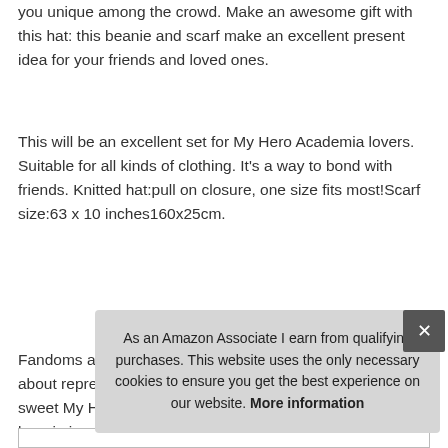you unique among the crowd. Make an awesome gift with this hat: this beanie and scarf make an excellent present idea for your friends and loved ones.
This will be an excellent set for My Hero Academia lovers. Suitable for all kinds of clothing. It's a way to bond with friends. Knitted hat:pull on closure, one size fits most!Scarf size:63 x 10 inches160x25cm.
More information #ad
Fandoms are the best: face it, we all love a good. How about representing your favorite Anime while rocking this sweet My Hero Academia beanie? Our My Hero Academia beanie is mor... acc... Stic...
As an Amazon Associate I earn from qualifying purchases. This website uses the only necessary cookies to ensure you get the best experience on our website. More information